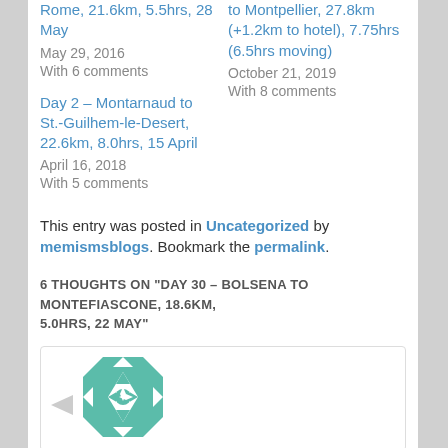Rome, 21.6km, 5.5hrs, 28 May
May 29, 2016
With 6 comments
to Montpellier, 27.8km (+1.2km to hotel), 7.75hrs (6.5hrs moving)
October 21, 2019
With 8 comments
Day 2 – Montarnaud to St.-Guilhem-le-Desert, 22.6km, 8.0hrs, 15 April
April 16, 2018
With 5 comments
This entry was posted in Uncategorized by memismsblogs. Bookmark the permalink.
6 THOUGHTS ON "DAY 30 – BOLSENA TO MONTEFIASCONE, 18.6KM, 5.0HRS, 22 MAY"
[Figure (illustration): Comment section avatar: a teal and white quilt/geometric pattern square icon]